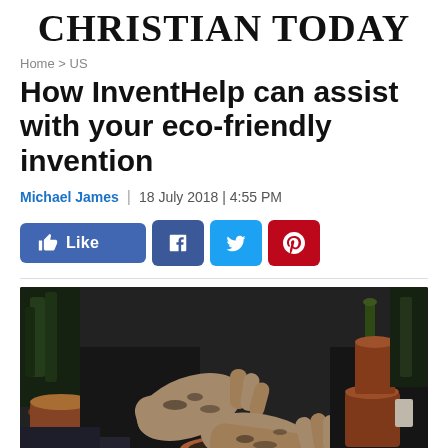CHRISTIAN TODAY
Home > US
How InventHelp can assist with your eco-friendly invention
Michael James  |  18 July 2018 | 4:55 PM
[Figure (screenshot): Social share buttons: Like (Facebook), Facebook, Twitter, Pinterest]
[Figure (photo): Hands with soil potting a small cactus in a terracotta pot, surrounded by plant pots and greenery on a dark surface]